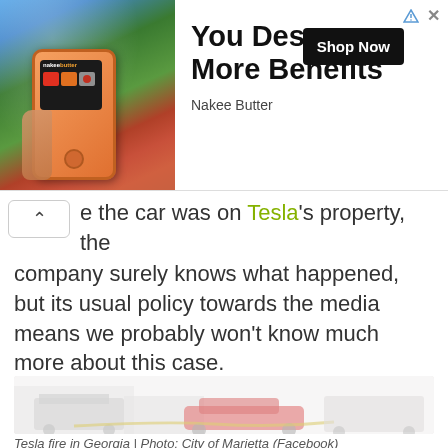[Figure (infographic): Advertisement banner for Nakee Butter showing a smartphone with app interface against a nature waterfall background. Bold text reads 'You Deserve More Benefits' with a 'Shop Now' button and 'Nakee Butter' brand name.]
e the car was on Tesla's property, the company surely knows what happened, but its usual policy towards the media means we probably won't know much more about this case.
[Figure (photo): Tesla fire in Georgia — a washed-out photo showing fire trucks and a red Tesla car at an incident scene.]
Tesla fire in Georgia | Photo: City of Marietta (Facebook)